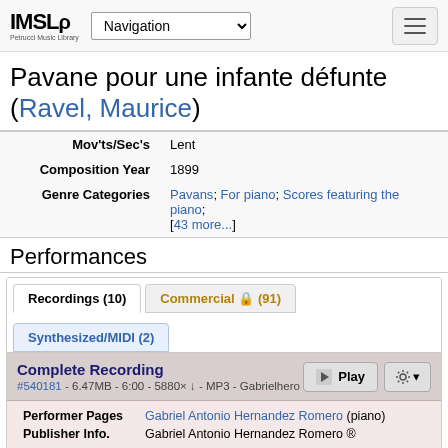IMSLP Petrucci Music Library — Navigation — hamburger menu
Pavane pour une infante défunte (Ravel, Maurice)
| Field | Value |
| --- | --- |
| Mov'ts/Sec's | Lent |
| Composition Year | 1899 |
| Genre Categories | Pavans; For piano; Scores featuring the piano; [43 more...] |
Performances
Recordings (10) | Commercial 🔒 (91) | Synthesized/MIDI (2)
Complete Recording — #540181 - 6.47MB - 6:00 - 5880× ↓ - MP3 - Gabrielhero
| Field | Value |
| --- | --- |
| Performer Pages | Gabriel Antonio Hernandez Romero (piano) |
| Publisher Info. | Gabriel Antonio Hernandez Romero ® |